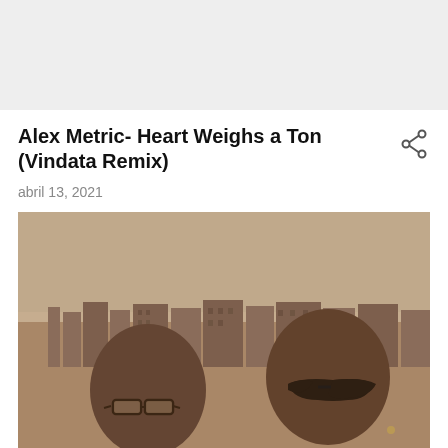Alex Metric- Heart Weighs a Ton (Vindata Remix)
abril 13, 2021
[Figure (photo): Sepia-toned photograph of two young Black men standing outdoors with an urban building backdrop. The man on the left wears thin-framed rectangular glasses and a light-colored shirt. The man on the right wears dark sunglasses and a dark jacket, with a small earring visible. Both look directly at the camera. The background shows apartment buildings and an overcast sky.]